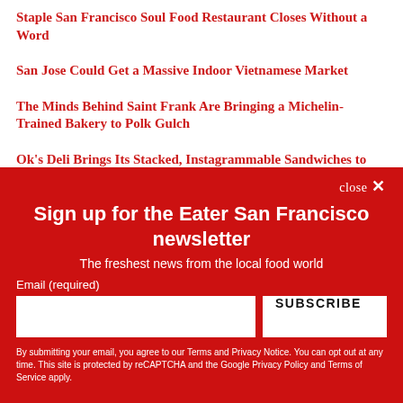Staple San Francisco Soul Food Restaurant Closes Without a Word
San Jose Could Get a Massive Indoor Vietnamese Market
The Minds Behind Saint Frank Are Bringing a Michelin-Trained Bakery to Polk Gulch
Ok's Deli Brings Its Stacked, Instagrammable Sandwiches to New Oakland Storefront
Sign up for the Eater San Francisco newsletter
The freshest news from the local food world
Email (required)
SUBSCRIBE
By submitting your email, you agree to our Terms and Privacy Notice. You can opt out at any time. This site is protected by reCAPTCHA and the Google Privacy Policy and Terms of Service apply.